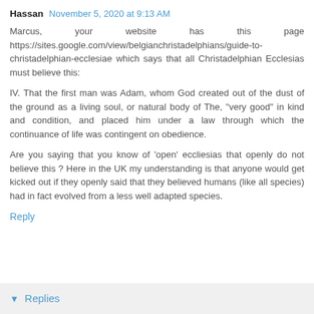Hassan  November 5, 2020 at 9:13 AM
Marcus, your website has this page https://sites.google.com/view/belgianchristadelphians/guide-to-christadelphian-ecclesiae which says that all Christadelphian Ecclesias must believe this:
IV. That the first man was Adam, whom God created out of the dust of the ground as a living soul, or natural body of The, "very good" in kind and condition, and placed him under a law through which the continuance of life was contingent on obedience.
Are you saying that you know of 'open' eccliesias that openly do not believe this ? Here in the UK my understanding is that anyone would get kicked out if they openly said that they believed humans (like all species) had in fact evolved from a less well adapted species.
Reply
Replies